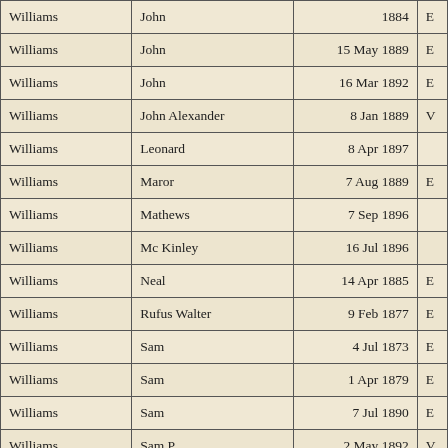| Last Name | First Name | Date |  |
| --- | --- | --- | --- |
| Williams | John | 1884 | E |
| Williams | John | 15 May 1889 | E |
| Williams | John | 16 Mar 1892 | E |
| Williams | John Alexander | 8 Jan 1889 | V |
| Williams | Leonard | 8 Apr 1897 |  |
| Williams | Maror | 7 Aug 1889 | E |
| Williams | Mathews | 7 Sep 1896 |  |
| Williams | Mc Kinley | 16 Jul 1896 |  |
| Williams | Neal | 14 Apr 1885 | E |
| Williams | Rufus Walter | 9 Feb 1877 | E |
| Williams | Sam | 4 Jul 1873 | E |
| Williams | Sam | 1 Apr 1879 | E |
| Williams | Sam | 7 Jul 1890 | E |
| Williams | Sam P. | 2 May 1892 | V |
| Williams | Thomas | 5 Mar 1895 | E |
| Williams | Tolbert George | 19 Jan 1882 | E |
| Williams | Tom |  | E |